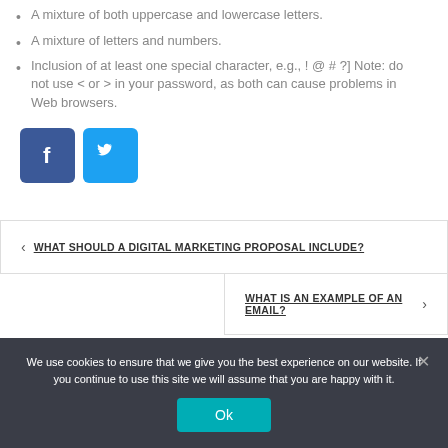A mixture of both uppercase and lowercase letters.
A mixture of letters and numbers.
Inclusion of at least one special character, e.g., ! @ # ?] Note: do not use < or > in your password, as both can cause problems in Web browsers.
[Figure (logo): Facebook and Twitter social media icon buttons]
< WHAT SHOULD A DIGITAL MARKETING PROPOSAL INCLUDE?
WHAT IS AN EXAMPLE OF AN EMAIL? >
We use cookies to ensure that we give you the best experience on our website. If you continue to use this site we will assume that you are happy with it.